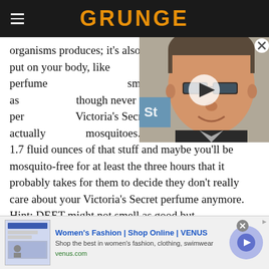GRUNGE
organisms produces; it's also the stuff you deliberately put on your body, like perfume smelling perfumes may act as though never fear – some per Victoria's Secret, have actually mosquitoes. So hey, just drop $58 on 1.7 fluid ounces of that stuff and maybe you'll be mosquito-free for at least the three hours that it probably takes for them to decide they don't really care about your Victoria's Secret perfume anymore. Hint: DEET might not smell as good but it's...
[Figure (photo): Video thumbnail showing a man with glasses smiling, with a play button overlay and a logo partially visible on left side]
[Figure (screenshot): Advertisement for Women's Fashion | Shop Online | VENUS, showing a website screenshot thumbnail, ad text 'Shop the best in women's fashion, clothing, swimwear', URL venus.com, and a circular arrow button on right]